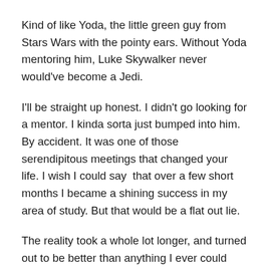Kind of like Yoda, the little green guy from Stars Wars with the pointy ears. Without Yoda mentoring him, Luke Skywalker never would've become a Jedi.
I'll be straight up honest. I didn't go looking for a mentor. I kinda sorta just bumped into him. By accident. It was one of those serendipitous meetings that changed your life. I wish I could say  that over a few short months I became a shining success in my area of study. But that would be a flat out lie.
The reality took a whole lot longer, and turned out to be better than anything I ever could have imagined. At the time, I wanted to become a computer animator—back when the industry was in its infancy. Along the way, I discovered my passion for writing for young people. Sometimes the wrong path brings you to the right place